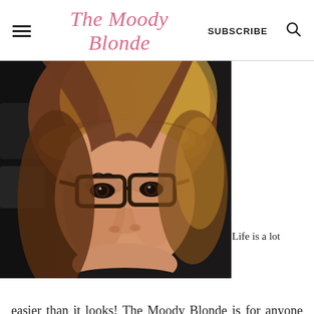The Moody Blonde  SUBSCRIBE
[Figure (photo): Close-up selfie photo of a blonde woman with bangs wearing dark-rimmed glasses and a black top, smiling slightly.]
Life is a lot easier than it looks! The Moody Blonde is for anyone who loves to make easy recipes for their families. No fancy ingredients and no